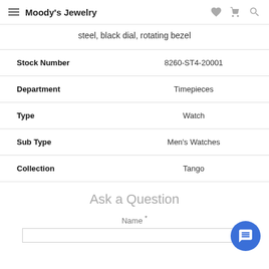Moody's Jewelry
steel, black dial, rotating bezel
|  |  |
| --- | --- |
| Stock Number | 8260-ST4-20001 |
| Department | Timepieces |
| Type | Watch |
| Sub Type | Men's Watches |
| Collection | Tango |
Ask a Question
Name *